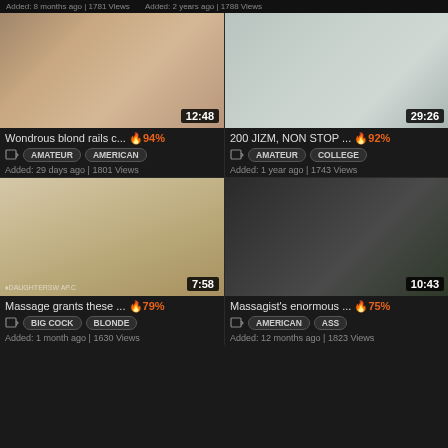Added: 8 months ago | 1781 Views    Added: 2 years ago | 1788 Views
[Figure (photo): Video thumbnail showing adult content, duration 12:48]
Wondrous blond rails c... 🔥 94%
AMATEUR   AMERICAN
Added: 29 days ago | 1801 Views
[Figure (photo): Video thumbnail showing adult content, duration 29:26]
200 JIZM, NON STOP ... 🔥 92%
AMATEUR   COLLEGE
Added: 1 year ago | 1743 Views
[Figure (photo): Video thumbnail showing adult content, duration 7:58]
Massage grants these ... 🔥 79%
BIG COCK   BLONDE
Added: 1 month ago | 1630 Views
[Figure (photo): Video thumbnail showing adult content, duration 10:43]
Massagist's enormous ... 🔥 75%
AMERICAN   ASS
Added: 12 months ago | 1823 Views